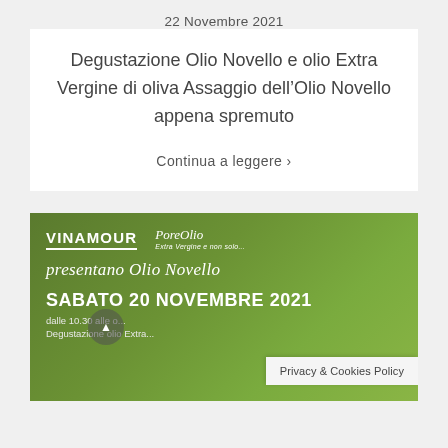22 Novembre 2021
Degustazione Olio Novello e olio Extra Vergine di oliva Assaggio dell’Olio Novello appena spremuto
Continua a leggere ›
[Figure (photo): Green promotional banner for Vinamour and PoreOlio event presenting Olio Novello on Sabato 20 Novembre 2021, with logos, cursive text 'presentano Olio Novello', event details, and a Privacy & Cookies Policy badge overlay.]